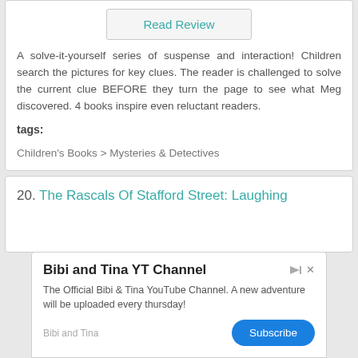Read Review
A solve-it-yourself series of suspense and interaction! Children search the pictures for key clues. The reader is challenged to solve the current clue BEFORE they turn the page to see what Meg discovered. 4 books inspire even reluctant readers.
tags:
Children's Books > Mysteries & Detectives
20. The Rascals Of Stafford Street: Laughing
Bibi and Tina YT Channel
The Official Bibi & Tina YouTube Channel. A new adventure will be uploaded every thursday!
Bibi and Tina
Subscribe